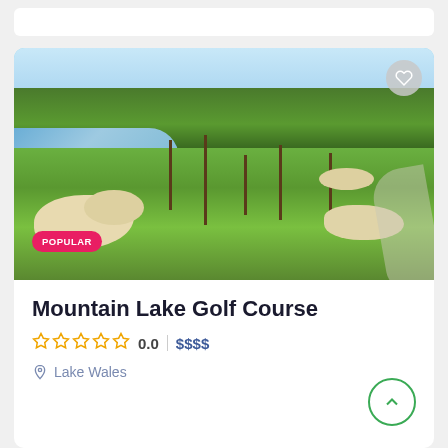[Figure (photo): Aerial view of Mountain Lake Golf Course showing lush green fairways, sand bunkers, water hazard, palm trees, and blue sky. A 'POPULAR' badge is shown at the bottom left, and a heart/favorite button at the top right.]
Mountain Lake Golf Course
0.0  |  $$$$
Lake Wales